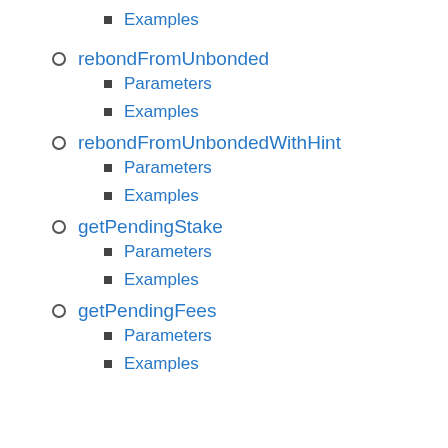Examples
rebondFromUnbonded
Parameters
Examples
rebondFromUnbondedWithHint
Parameters
Examples
getPendingStake
Parameters
Examples
getPendingFees
Parameters
Examples